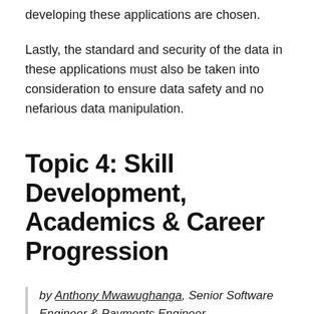developing these applications are chosen.
Lastly, the standard and security of the data in these applications must also be taken into consideration to ensure data safety and no nefarious data manipulation.
Topic 4: Skill Development, Academics & Career Progression
by Anthony Mwawughanga, Senior Software Engineer & Payments Engineer